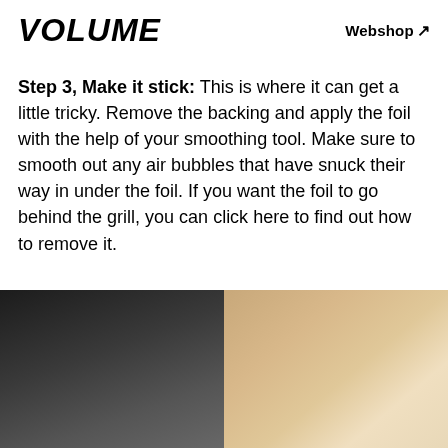VOLUME  Webshop ↗
Step 3, Make it stick: This is where it can get a little tricky. Remove the backing and apply the foil with the help of your smoothing tool. Make sure to smooth out any air bubbles that have snuck their way in under the foil. If you want the foil to go behind the grill, you can click here to find out how to remove it.
[Figure (photo): A photo showing hands applying foil to a surface, with a dark background on the left and skin-toned hands on the right.]